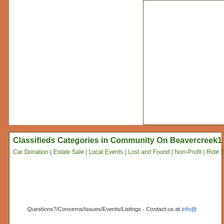[Figure (other): Partial white content area with an outlined inner box on the right side, cropped at top — appears to be a webpage layout fragment]
Classifieds Categories in Community On Beavercreek1
Car Donation | Estate Sale | Local Events | Lost and Found | Non-Profit | Ride Share |
Questions?/Concerns/Issues/Events/Listings - Contact us at info@